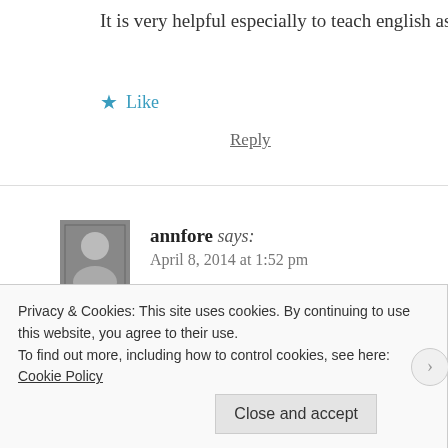It is very helpful especially to teach english as second l...
★ Like
Reply
annfore says:
April 8, 2014 at 1:52 pm
Hi Jonny,
Just to let you know that we've shortlisted this blog po...
blog award and I'll be making a post about it on today's...
http://www.facebook.com/TeachingEnglish.BritishCou...
likes and comments.
Privacy & Cookies: This site uses cookies. By continuing to use this website, you agree to their use.
To find out more, including how to control cookies, see here: Cookie Policy
Close and accept